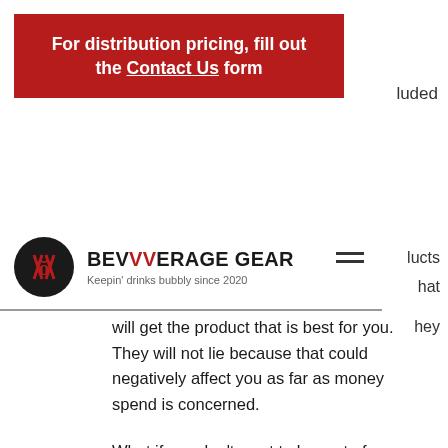[Figure (other): Red banner with white bold text reading: For distribution pricing, fill out the Contact Us form]
luded
[Figure (logo): Bevverage Gear logo: black circle with stylized KL letters in red, brand name BEVVERAGE GEAR in bold black with red VV, tagline: Keepin' drinks bubbly since 2020]
lucts
hat
hey will get the product that is best for you. They will not lie because that could negatively affect you as far as money spend is concerned.
What if you don't want to be part of CrazyBulk like the company does have been?
You can not join CrazyBulk but you can go on your own. What that means is when you order something on CrazyBulk, you can go on your own and order it on